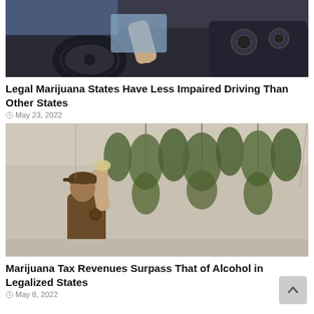[Figure (photo): Interior of a car showing a hand near the dashboard/radio controls, steering wheel visible, driver wearing a light blue shirt]
Legal Marijuana States Have Less Impaired Driving Than Other States
May 23, 2022
[Figure (photo): A worker in a brown cap and shirt reaches up among hanging cannabis plants in an indoor growing/drying facility]
Marijuana Tax Revenues Surpass That of Alcohol in Legalized States
May 8, 2022